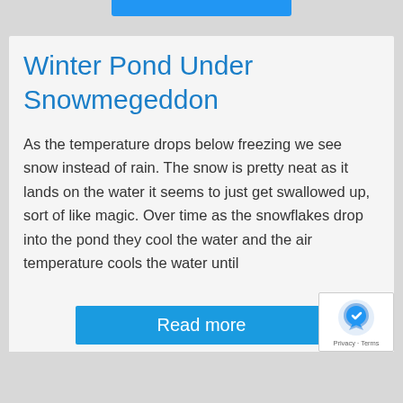Winter Pond Under Snowmegeddon
As the temperature drops below freezing we see snow instead of rain. The snow is pretty neat as it lands on the water it seems to just get swallowed up, sort of like magic. Over time as the snowflakes drop into the pond they cool the water and the air temperature cools the water until
Read more